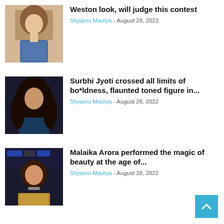[Figure (photo): Woman in blue sequined top with long hair]
Weston look, will judge this contest
Shyamu Maurya - August 28, 2022
[Figure (photo): Woman with long curly dark hair in a dark blue outfit]
Surbhi Jyoti crossed all limits of bo*ldness, flaunted toned figure in...
Shyamu Maurya - August 28, 2022
[Figure (photo): Malaika Arora in a gold outfit at an event with backdrop signage]
Malaika Arora performed the magic of beauty at the age of...
Shyamu Maurya - August 28, 2022